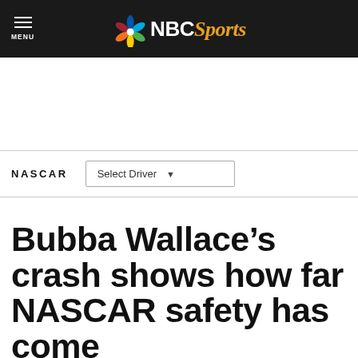NBC Sports — MENU
NASCAR | Select Driver
Bubba Wallace’s crash shows how far NASCAR safety has come
By Dustin Long — Jul 30, 2018, 1:10 PM EDT